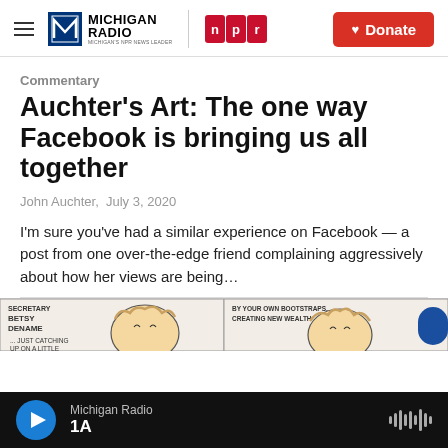Michigan Radio | NPR | Donate
Commentary
Auchter's Art: The one way Facebook is bringing us all together
John Auchter,  July 3, 2020
I'm sure you've had a similar experience on Facebook — a post from one over-the-edge friend complaining aggressively about how her views are being…
[Figure (illustration): Comic strip panel showing cartoon characters with text 'SECRETARY BETSY DENAME', '... JUST CATCHING UP ON A LITTLE', 'BY YOUR OWN BOOTSTRAPS, CREATING NEW WEALTH']
Michigan Radio | 1A